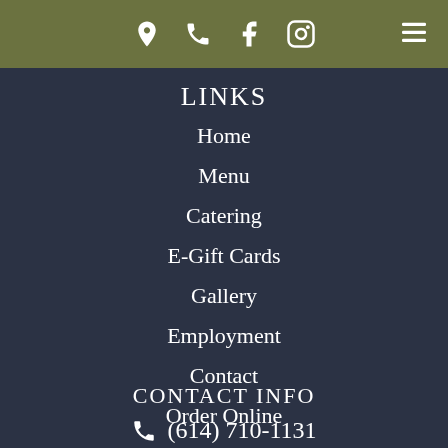Navigation header with location, phone, Facebook, Instagram icons and hamburger menu
LINKS
Home
Menu
Catering
E-Gift Cards
Gallery
Employment
Contact
Order Online
CONTACT INFO
(614) 710-1131